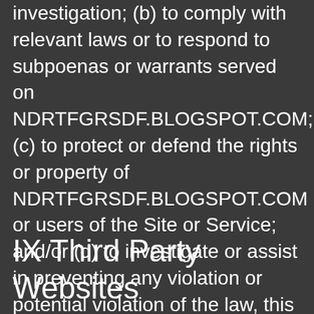investigation; (b) to comply with relevant laws or to respond to subpoenas or warrants served on NDRTFGRSDF.BLOGSPOT.COM; (c) to protect or defend the rights or property of NDRTFGRSDF.BLOGSPOT.COM or users of the Site or Service; and/or (d) to investigate or assist in preventing any violation or potential violation of the law, this Privacy Policy, or Our Terms of Use.
IX Third Party Websites